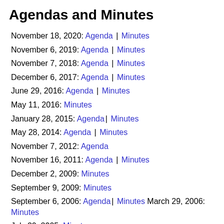Agendas and Minutes
November 18, 2020: Agenda | Minutes
November 6, 2019: Agenda | Minutes
November 7, 2018: Agenda | Minutes
December 6, 2017: Agenda | Minutes
June 29, 2016: Agenda | Minutes
May 11, 2016: Minutes
January 28, 2015: Agenda | Minutes
May 28, 2014: Agenda | Minutes
November 7, 2012: Agenda
November 16, 2011: Agenda | Minutes
December 2, 2009: Minutes
September 9, 2009: Minutes
September 6, 2006: Agenda | Minutes March 29, 2006: Minutes
July 20, 2005: Minutes
March 23, 2005: Minutes
August 18, 2004: Minutes